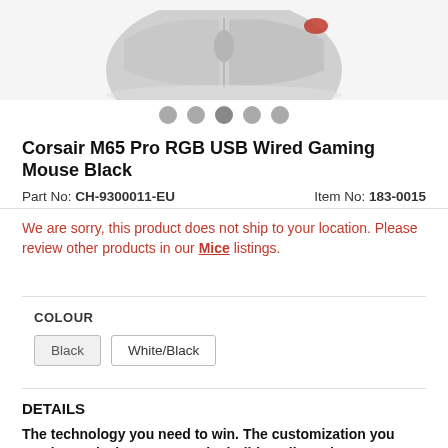[Figure (photo): Partial top view of a Corsair M65 Pro RGB gaming mouse in black, cropped showing the upper portion against a white/light grey background]
Corsair M65 Pro RGB USB Wired Gaming Mouse Black
Part No: CH-9300011-EU    Item No: 183-0015
We are sorry, this product does not ship to your location. Please review other products in our Mice listings.
COLOUR
Black   White/Black
DETAILS
The technology you need to win. The customization you need to make it your own. The build quality to last.
The M65 PRO RGB features a 12000 DPI optical sensor that provides